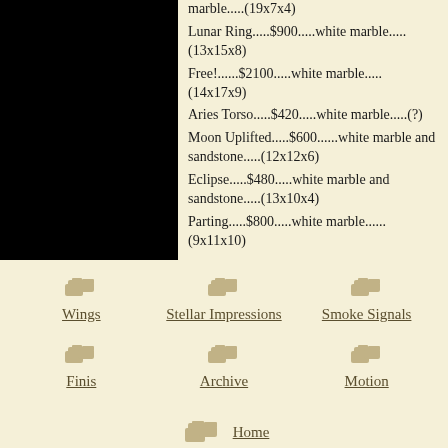[Figure (photo): Black square image on left side]
marble.....(19x7x4)
Lunar Ring.....$900.....white marble.....(13x15x8)
Free!......$2100.....white marble.....(14x17x9)
Aries Torso.....$420.....white marble.....(?)
Moon Uplifted.....$600......white marble and sandstone.....(12x12x6)
Eclipse.....$480.....white marble and sandstone.....(13x10x4)
Parting.....$800.....white marble......(9x11x10)
Wings
Stellar Impressions
Smoke Signals
Finis
Archive
Motion
Home